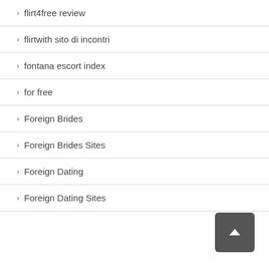flirt4free review
flirtwith sito di incontri
fontana escort index
for free
Foreign Brides
Foreign Brides Sites
Foreign Dating
Foreign Dating Sites